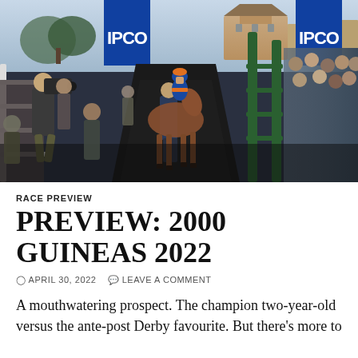[Figure (photo): Horse racing scene: a horse and jockey in blue and orange silks walking through a paddock walkway surrounded by crowd, camera crew, and officials. IPCO sponsor banners visible in background. Green fencing and white railings line the path.]
RACE PREVIEW
PREVIEW: 2000 GUINEAS 2022
APRIL 30, 2022   LEAVE A COMMENT
A mouthwatering prospect. The champion two-year-old versus the ante-post Derby favourite. But there's more to